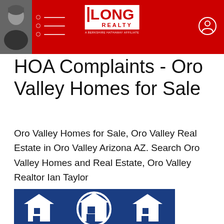Long Realty - A Berkshire Hathaway Affiliate
HOA Complaints - Oro Valley Homes for Sale
Oro Valley Homes for Sale, Oro Valley Real Estate in Oro Valley Arizona AZ. Search Oro Valley Homes and Real Estate, Oro Valley Realtor Ian Taylor
[Figure (illustration): Blue background illustration showing white house icons with a circular magnifying glass or search icon in the center, representing homes for sale]